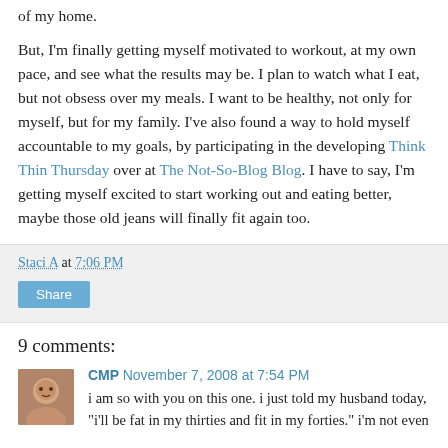of my home.
But, I'm finally getting myself motivated to workout, at my own pace, and see what the results may be. I plan to watch what I eat, but not obsess over my meals. I want to be healthy, not only for myself, but for my family. I've also found a way to hold myself accountable to my goals, by participating in the developing Think Thin Thursday over at The Not-So-Blog Blog. I have to say, I'm getting myself excited to start working out and eating better, maybe those old jeans will finally fit again too.
Staci A at 7:06 PM
Share
9 comments:
CMP November 7, 2008 at 7:54 PM
i am so with you on this one. i just told my husband today, "i'll be fat in my thirties and fit in my forties." i'm not even